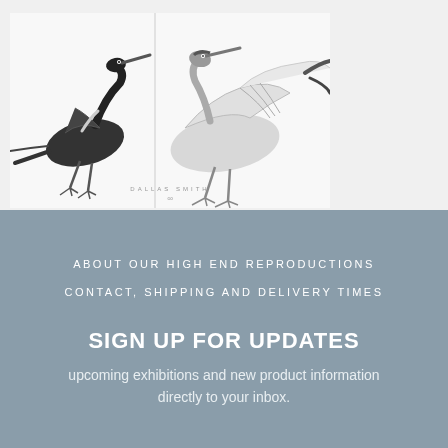[Figure (illustration): Two heron/crane birds illustrated in a Japanese ink-wash style on a white background, shown in two adjacent panels with a vertical dividing line. Text 'DALLAS SMITH' appears at the bottom center of the image.]
ABOUT OUR HIGH END REPRODUCTIONS
CONTACT, SHIPPING AND DELIVERY TIMES
SIGN UP FOR UPDATES
upcoming exhibitions and new product information directly to your inbox.